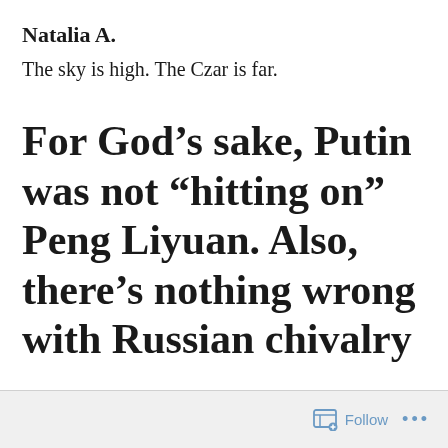Natalia A.
The sky is high. The Czar is far.
For God’s sake, Putin was not “hitting on” Peng Liyuan. Also, there’s nothing wrong with Russian chivalry
Follow ...